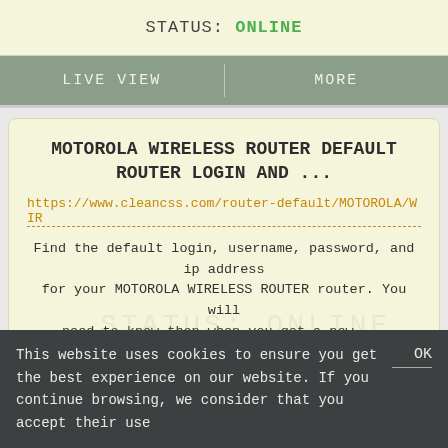STATUS: ONLINE
LIVE VIEW    MORE
MOTOROLA WIRELESS ROUTER DEFAULT ROUTER LOGIN AND ...
https://www.cleancss.com/router-default/MOTOROLA/WIR
Find the default login, username, password, and ip address for your MOTOROLA WIRELESS ROUTER router. You will need to know then when you get a new ...
STATUS: ONLINE
This website uses cookies to ensure you get the best experience on our website. If you continue browsing, we consider that you accept their use